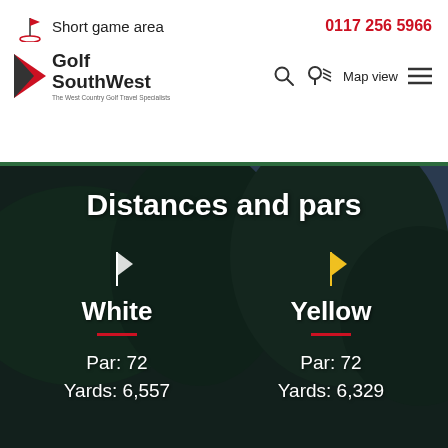Short game area | 0117 256 5966
[Figure (logo): Golf SouthWest logo with red triangle icon and tagline 'The West Country Golf Travel Specialists']
Distances and pars
White
Par: 72
Yards: 6,557
Yellow
Par: 72
Yards: 6,329